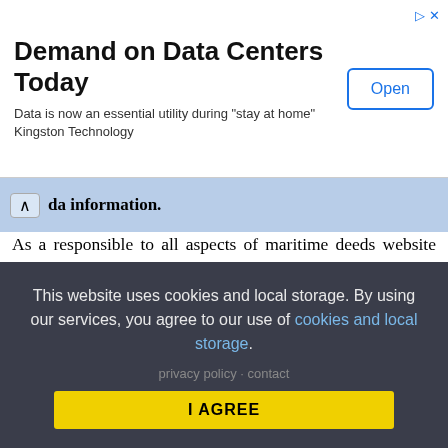[Figure (screenshot): Advertisement banner for Kingston Technology: 'Demand on Data Centers Today' with an 'Open' button]
...da information.
As a responsible to all aspects of maritime deeds website shiptraffic.net utilizes Sea Distance Calculator from port to port, Nautical Chart, Interactive map of the major 300 river, sea and ocean objects and regions like GULF OF SAKHALIN, Maritime Locator useful to spot, find out and connect to Shipyards, Agents, Ship Suppliers, Bunkerers and nearby Sea Ports in the region of GULF OF SAKHALIN, a handy marine Weather map is always at the service of mariners and seafarers.
This website uses cookies and local storage. By using our services, you agree to our use of cookies and local storage.
I AGREE